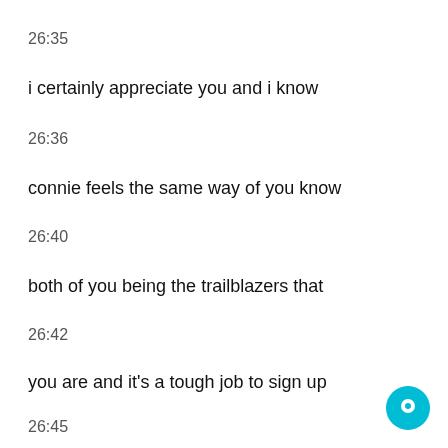26:35
i certainly appreciate you and i know
26:36
connie feels the same way of you know
26:40
both of you being the trailblazers that
26:42
you are and it's a tough job to sign up
26:45